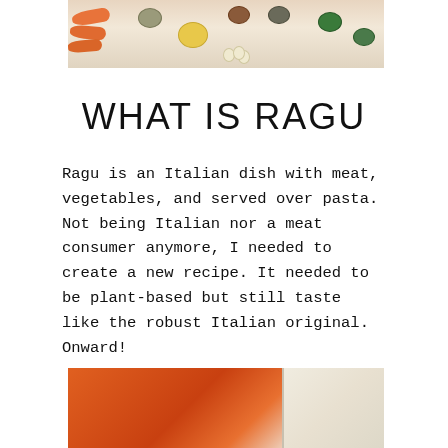[Figure (photo): Overhead view of recipe ingredients including baby carrots, small bowls with spices, olive oil, and garlic cloves on a white background]
WHAT IS RAGU
Ragu is an Italian dish with meat, vegetables, and served over pasta. Not being Italian nor a meat consumer anymore, I needed to create a new recipe. It needed to be plant-based but still taste like the robust Italian original. Onward!
[Figure (photo): Close-up of diced orange carrots and chopped white onions on a cutting board or in a pan]